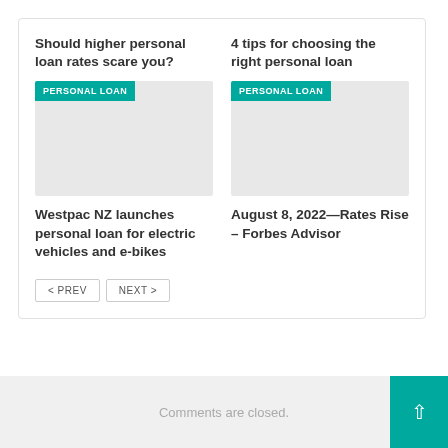Should higher personal loan rates scare you?
[Figure (other): Article thumbnail placeholder with PERSONAL LOAN tag badge]
4 tips for choosing the right personal loan
[Figure (other): Article thumbnail placeholder with PERSONAL LOAN tag badge]
Westpac NZ launches personal loan for electric vehicles and e-bikes
August 8, 2022—Rates Rise – Forbes Advisor
< PREV   NEXT >
Comments are closed.